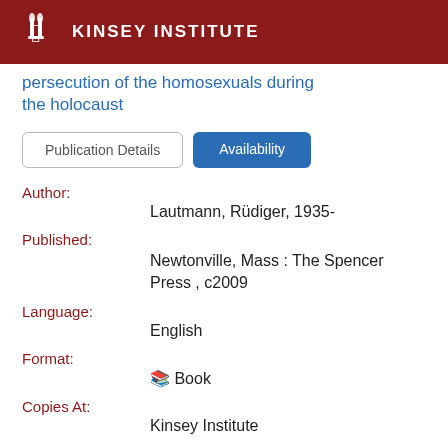KINSEY INSTITUTE
persecution of the homosexuals during the holocaust
Publication Details | Availability
Author: Lautmann, Rüdiger, 1935-
Published: Newtonville, Mass : The Spencer Press , c2009
Language: English
Format: Book
Copies At: Kinsey Institute